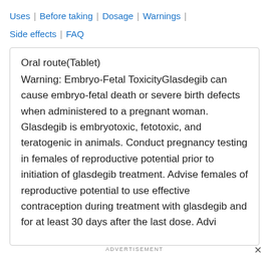Uses | Before taking | Dosage | Warnings | Side effects | FAQ
Oral route(Tablet)
Warning: Embryo-Fetal ToxicityGlasdegib can cause embryo-fetal death or severe birth defects when administered to a pregnant woman. Glasdegib is embryotoxic, fetotoxic, and teratogenic in animals. Conduct pregnancy testing in females of reproductive potential prior to initiation of glasdegib treatment. Advise females of reproductive potential to use effective contraception during treatment with glasdegib and for at least 30 days after the last dose. Advise
ADVERTISEMENT